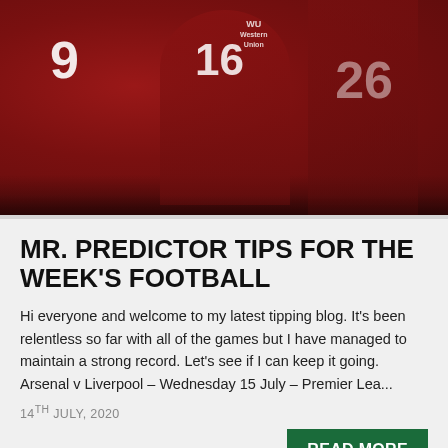[Figure (photo): Liverpool FC players in red jerseys celebrating, jersey numbers 9, 16, 26 visible, Western Union sponsor on shirt]
MR. PREDICTOR TIPS FOR THE WEEK'S FOOTBALL
Hi everyone and welcome to my latest tipping blog. It's been relentless so far with all of the games but I have managed to maintain a strong record. Let's see if I can keep it going. Arsenal v Liverpool – Wednesday 15 July – Premier Lea...
14TH JULY, 2020
READ MORE
[Figure (photo): Football stadium scene, partially visible, appears to be a ground-level view with stands and signage in background]